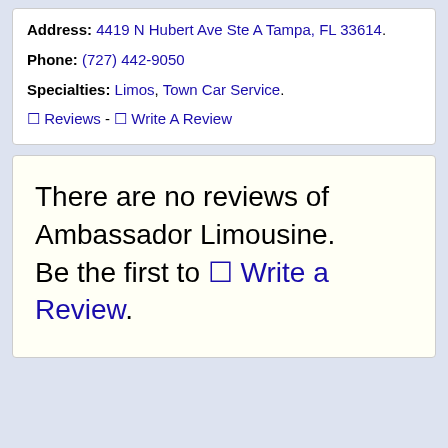Address: 4419 N Hubert Ave Ste A Tampa, FL 33614. Phone: (727) 442-9050 Specialties: Limos, Town Car Service. 0 Reviews - 0 Write A Review
There are no reviews of Ambassador Limousine. Be the first to 0 Write a Review.